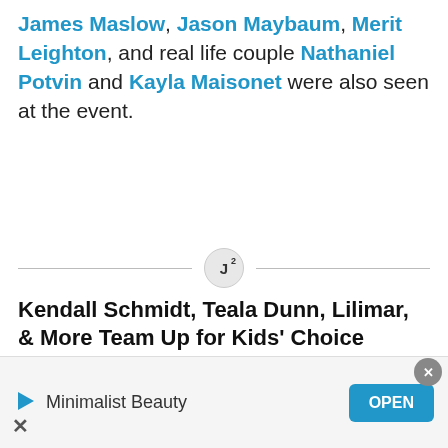James Maslow, Jason Maybaum, Merit Leighton, and real life couple Nathaniel Potvin and Kayla Maisonet were also seen at the event.
[Figure (logo): J-squared logo divider icon with horizontal lines on each side]
Kendall Schmidt, Teala Dunn, Lilimar, & More Team Up for Kids' Choice Awards Slime Soiree!
[Figure (photo): Photo strip showing faces at what appears to be a Kids Choice Awards event with green background, partially obscured by ad overlay and close button]
Minimalist Beauty
OPEN